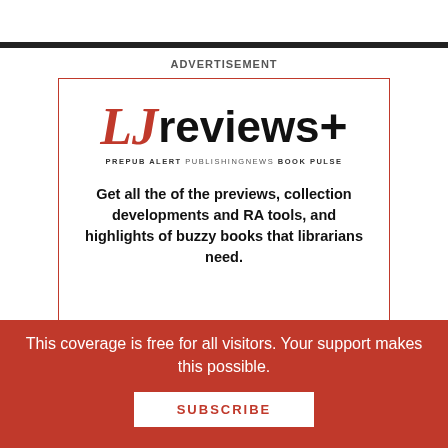ADVERTISEMENT
[Figure (logo): LJ reviews+ logo with tagline PREPUB ALERT PUBLISHINGNEWS BOOK PULSE, followed by ad text and SIGN UP. IT'S FREE! banner]
This coverage is free for all visitors. Your support makes this possible.
SUBSCRIBE